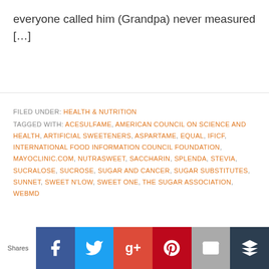everyone called him (Grandpa) never measured […]
FILED UNDER: HEALTH & NUTRITION
TAGGED WITH: ACESULFAME, AMERICAN COUNCIL ON SCIENCE AND HEALTH, ARTIFICIAL SWEETENERS, ASPARTAME, EQUAL, IFICF, INTERNATIONAL FOOD INFORMATION COUNCIL FOUNDATION, MAYOCLINIC.COM, NUTRASWEET, SACCHARIN, SPLENDA, STEVIA, SUCRALOSE, SUCROSE, SUGAR AND CANCER, SUGAR SUBSTITUTES, SUNNET, SWEET N'LOW, SWEET ONE, THE SUGAR ASSOCIATION, WEBMD
Do you know someone that has diabetes?
Shares